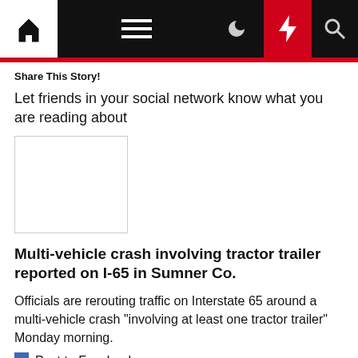Navigation bar with home, menu, moon, bolt, and search icons
Share This Story!
Let friends in your social network know what you are reading about
[Figure (other): Empty Facebook share widget box]
Multi-vehicle crash involving tractor trailer reported on I-65 in Sumner Co.
Officials are rerouting traffic on Interstate 65 around a multi-vehicle crash "involving at least one tractor trailer" Monday morning.
Post to Facebook
Sent!
A link has been sent to your friend's email address.